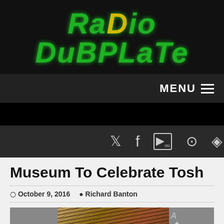[Figure (logo): Radio DubPlate logo in green neon italic text with gold dot on the i]
MENU ≡
[Figure (infographic): Social media icons: Twitter, Facebook, YouTube, Instagram, RSS]
Museum To Celebrate Tosh
October 9, 2016   Richard Banton
[Figure (photo): Person with dreadlocks, partially visible, with text overlay showing A MUS EUM]